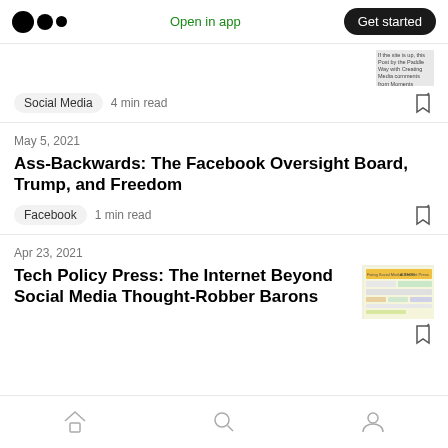Medium app header with logo, Open in app, Get started
Social Media   4 min read
May 5, 2021
Ass-Backwards: The Facebook Oversight Board, Trump, and Freedom
Facebook   1 min read
Apr 23, 2021
Tech Policy Press: The Internet Beyond Social Media Thought-Robber Barons
Bottom navigation: Home, Search, Profile